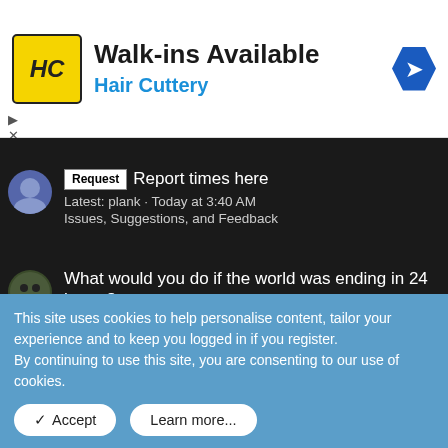[Figure (illustration): Hair Cuttery advertisement banner with HC logo, 'Walk-ins Available' text, blue arrow icon]
Request · Report times here
Latest: plank · Today at 3:40 AM
Issues, Suggestions, and Feedback
What would you do if the world was ending in 24 hours?
Latest: spawn · Today at 12:38 AM
Off-Topic
Last person who posts wins
Latest: Kuiq · Yesterday at 10:45 AM
Off-Topic
This site uses cookies to help personalise content, tailor your experience and to keep you logged in if you register.
By continuing to use this site, you are consenting to our use of cookies.